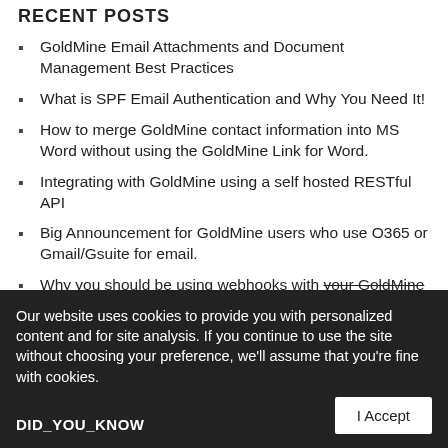RECENT POSTS
GoldMine Email Attachments and Document Management Best Practices
What is SPF Email Authentication and Why You Need It!
How to merge GoldMine contact information into MS Word without using the GoldMine Link for Word.
Integrating with GoldMine using a self hosted RESTful API
Big Announcement for GoldMine users who use O365 or Gmail/Gsuite for email.
Why you should be using webhooks with your GoldMine to automate workflow and data entry
Our website uses cookies to provide you with personalized content and for site analysis. If you continue to use the site without choosing your preference, we'll assume that you're fine with cookies.
DID_YOU_KNOW